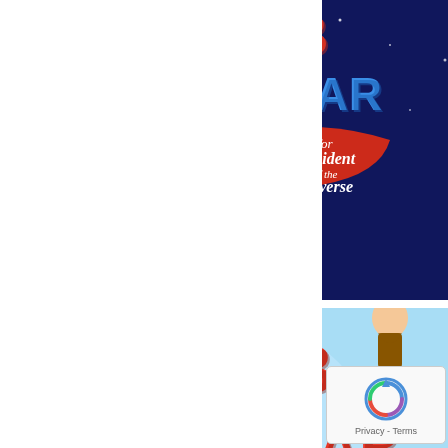[Figure (illustration): Book cover of 'Jacob Wonderbar for President of the Universe' by Nathan Bransford. Dark blue/space background with cartoon boy holding a red flag reading 'for president of the universe', surrounded by other cartoon characters. Red and blue planet at bottom.]
[Figure (illustration): Book cover of 'Jacob Wonderbar and the Interstellar Time Warp'. Light blue background with large red/orange block letters 'JACOB WONDERBAR' and subtitle 'and the interstellar time warp'. Cartoon blonde boy fighting a green dinosaur. Partial view.]
[Figure (logo): Google reCAPTCHA privacy badge in bottom right corner showing circular arrows icon with 'Privacy - Terms' text.]